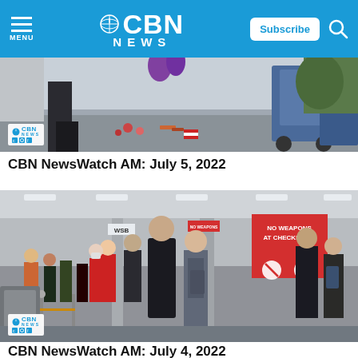CBN NEWS — Menu, Subscribe, Search
[Figure (screenshot): Video thumbnail showing outdoor scene on sidewalk with stroller and scattered items, likely from July 4th shooting coverage]
CBN NewsWatch AM: July 5, 2022
[Figure (screenshot): Video thumbnail showing airport security checkpoint with crowd of travelers and 'NO WEAPONS AT CHECKPOINT' sign visible, WSB label on pillar]
CBN NewsWatch AM: July 4, 2022